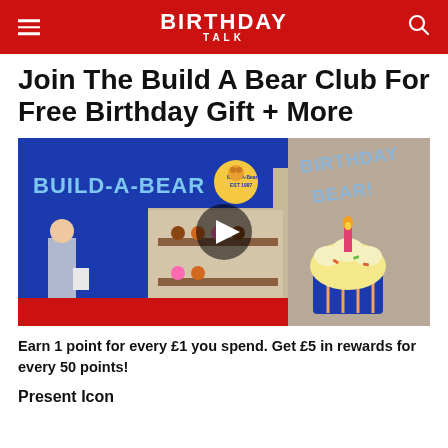BIRTHDAY TALK
Join The Build A Bear Club For Free Birthday Gift + More
[Figure (photo): Left side: Build-A-Bear Workshop store front with person standing outside; center: video play button overlay; right side: Birthday Bear graphic with cupcake and candle illustration on tan background]
Earn 1 point for every £1 you spend. Get £5 in rewards for every 50 points!
Present Icon